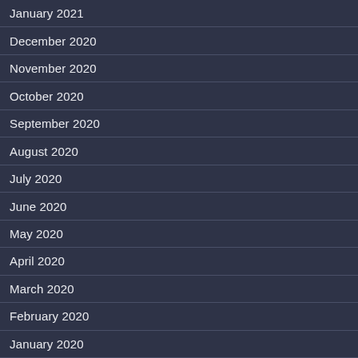January 2021
December 2020
November 2020
October 2020
September 2020
August 2020
July 2020
June 2020
May 2020
April 2020
March 2020
February 2020
January 2020